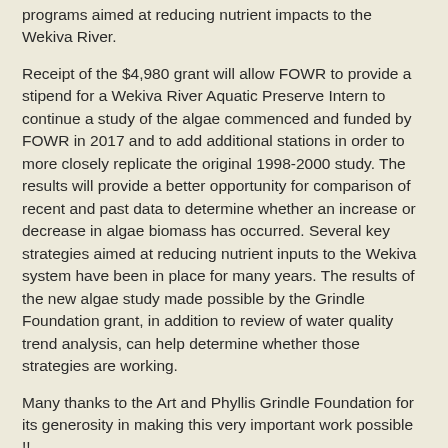programs aimed at reducing nutrient impacts to the Wekiva River.
Receipt of the $4,980 grant will allow FOWR to provide a stipend for a Wekiva River Aquatic Preserve Intern to continue a study of the algae commenced and funded by FOWR in 2017 and to add additional stations in order to more closely replicate the original 1998-2000 study. The results will provide a better opportunity for comparison of recent and past data to determine whether an increase or decrease in algae biomass has occurred. Several key strategies aimed at reducing nutrient inputs to the Wekiva system have been in place for many years. The results of the new algae study made possible by the Grindle Foundation grant, in addition to review of water quality trend analysis, can help determine whether those strategies are working.
Many thanks to the Art and Phyllis Grindle Foundation for its generosity in making this very important work possible !!